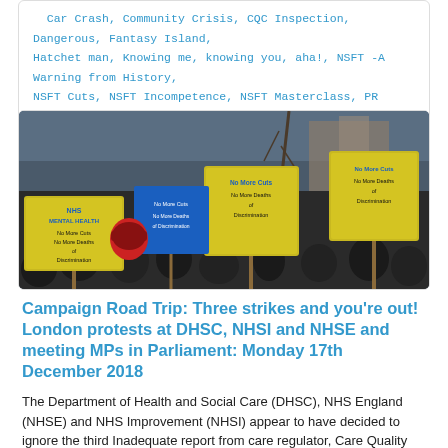Car Crash, Community Crisis, CQC Inspection, Dangerous, Fantasy Island, Hatchet man, Knowing me, knowing you, aha!, NSFT -A Warning from History, NSFT Cuts, NSFT Incompetence, NSFT Masterclass, PR Crisis, Revolving Doors, Special Measures, Where are the TSSers now?
[Figure (photo): Photo of a protest/demonstration with people holding yellow and blue signs reading 'No More Cuts, No More Deaths of Discrimination' and 'NHS Mental Health'. Taken outdoors in winter, with bare trees and buildings visible in background.]
Campaign Road Trip: Three strikes and you're out! London protests at DHSC, NHSI and NHSE and meeting MPs in Parliament: Monday 17th December 2018
The Department of Health and Social Care (DHSC), NHS England (NHSE) and NHS Improvement (NHSI) appear to have decided to ignore the third Inadequate report from care regulator, Care Quality [...]